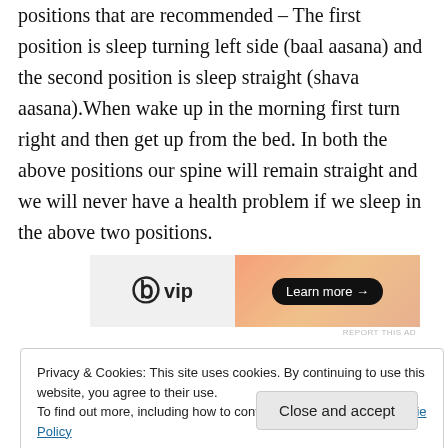positions that are recommended – The first position is sleep turning left side (baal aasana) and the second position is sleep straight (shava aasana).When wake up in the morning first turn right and then get up from the bed. In both the above positions our spine will remain straight and we will never have a health problem if we sleep in the above two positions.
[Figure (other): WordPress VIP advertisement banner with 'Learn more →' button on an orange gradient background]
Privacy & Cookies: This site uses cookies. By continuing to use this website, you agree to their use.
To find out more, including how to control cookies, see here: Cookie Policy
Close and accept